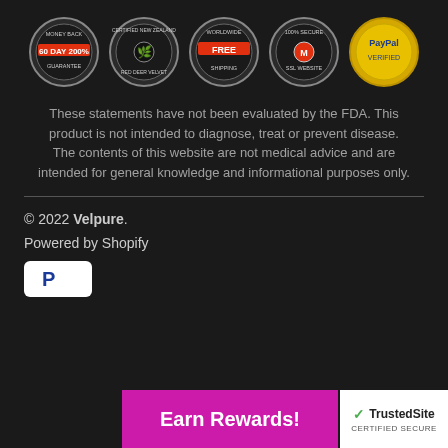[Figure (infographic): Five trust badges in a row: 60 Day 200% Money Back Guarantee, Certified New Zealand Red Deer Velvet, Worldwide Free Shipping, 100% Secure SSL Website, PayPal Verified]
These statements have not been evaluated by the FDA. This product is not intended to diagnose, treat or prevent disease. The contents of this website are not medical advice and are intended for general knowledge and informational purposes only.
© 2022 Velpure.
Powered by Shopify
[Figure (logo): PayPal logo button (white rounded rectangle with blue P)]
[Figure (infographic): Earn Rewards! button (magenta/pink) and TrustedSite Certified Secure badge]
[Figure (logo): TrustedSite Certified Secure badge]